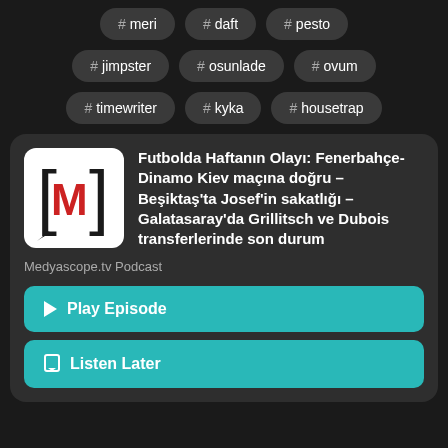# meri
# daft
# pesto
# jimpster
# osunlade
# ovum
# timewriter
# kyka
# housetrap
Futbolda Haftanın Olayı: Fenerbahçe-Dinamo Kiev maçına doğru – Beşiktaş'ta Josef'in sakatlığı – Galatasaray'da Grillitsch ve Dubois transferlerinde son durum
Medyascope.tv Podcast
▶ Play Episode
☐ Listen Later